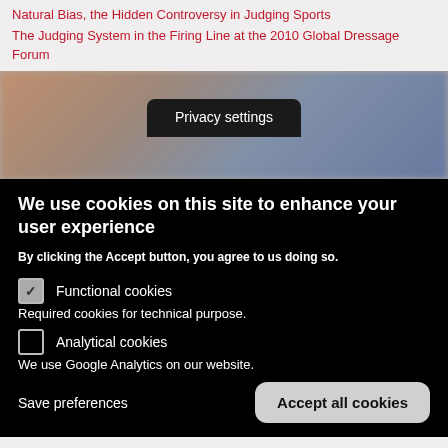Natural Bias, the Hidden Controversy in Judging Sports
The Judging System in the Firing Line at the 2010 Global Dressage Forum
[Figure (photo): Blurred photo of a person, partially obscured by a dark Privacy settings dialog tab overlay]
Privacy settings
We use cookies on this site to enhance your user experience
By clicking the Accept button, you agree to us doing so.
Functional cookies
Required cookies for technical purpose.
Analytical cookies
We use Google Analytics on our website.
Save preferences
Accept all cookies